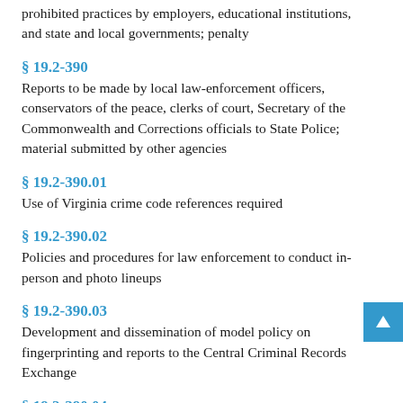prohibited practices by employers, educational institutions, and state and local governments; penalty
§ 19.2-390
Reports to be made by local law-enforcement officers, conservators of the peace, clerks of court, Secretary of the Commonwealth and Corrections officials to State Police; material submitted by other agencies
§ 19.2-390.01
Use of Virginia crime code references required
§ 19.2-390.02
Policies and procedures for law enforcement to conduct in-person and photo lineups
§ 19.2-390.03
Development and dissemination of model policy on fingerprinting and reports to the Central Criminal Records Exchange
§ 19.2-390.04
Custodial interrogations; recording